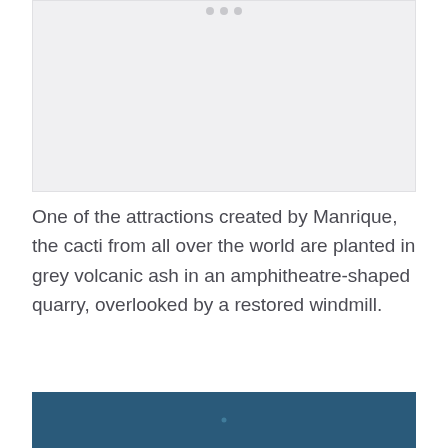[Figure (photo): A light grey/white photograph placeholder area with three small dots at the top center, representing an image above the text]
One of the attractions created by Manrique, the cacti from all over the world are planted in grey volcanic ash in an amphitheatre-shaped quarry, overlooked by a restored windmill.
[Figure (photo): A dark blue photograph showing what appears to be a textured surface, partially visible at the bottom of the page]